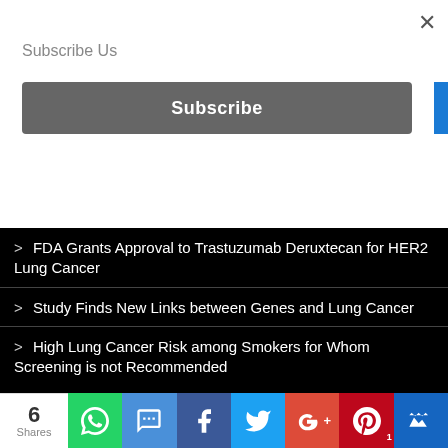×
Subscribe Us
Subscribe
> FDA Grants Approval to Trastuzumab Deruxtecan for HER2 Lung Cancer
> Study Finds New Links between Genes and Lung Cancer
> High Lung Cancer Risk among Smokers for Whom Screening is not Recommended
CONTACT US
6 Shares